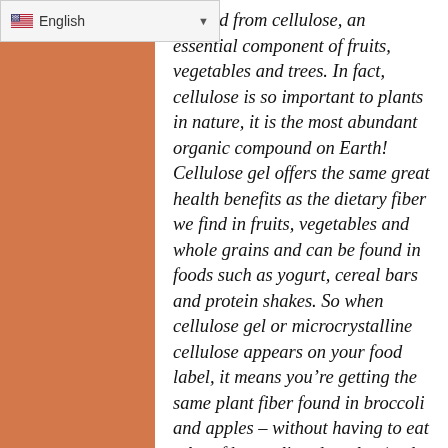derived from cellulose, an essential component of fruits, vegetables and trees. In fact, cellulose is so important to plants in nature, it is the most abundant organic compound on Earth! Cellulose gel offers the same great health benefits as the dietary fiber we find in fruits, vegetables and whole grains and can be found in foods such as yogurt, cereal bars and protein shakes. So when cellulose gel or microcrystalline cellulose appears on your food label, it means you're getting the same plant fiber found in broccoli and apples – without having to eat a lot of broccoli and apples (and without the hassle of cooking and